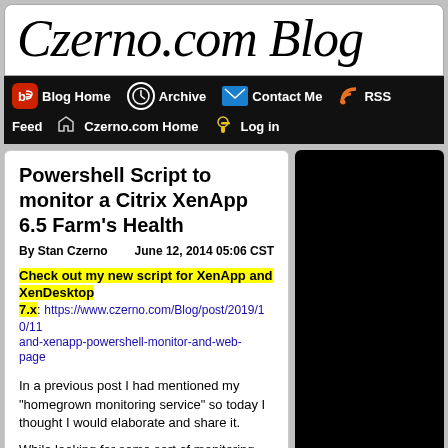Czerno.com Blog
Blog Home | Archive | Contact Me | RSS Feed | Czerno.com Home | Log in
Powershell Script to monitor a Citrix XenApp 6.5 Farm's Health
By Stan Czerno    June 12, 2014 05:06 CST
Check out my new script for XenApp and XenDesktop 7.x: https://www.czerno.com/Blog/post/2019/10/11/and-xenapp-powershell-monitor-and-web-page
In a previous post I had mentioned my "homegrown monitoring service" so today I thought I would elaborate and share it.
While looking for some sort of monitoring script for XenApp, I found an excellent script